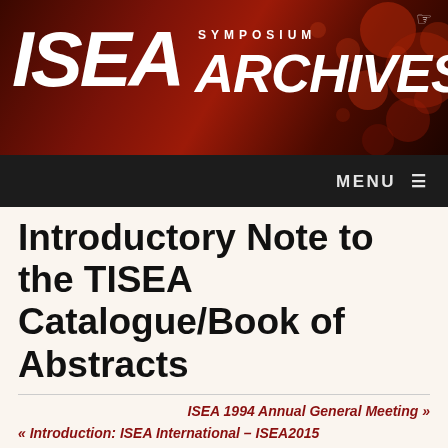[Figure (logo): ISEA Symposium Archives banner logo with dark red gradient background and decorative red bokeh circles]
MENU ≡
Introductory Note to the TISEA Catalogue/Book of Abstracts
ISEA 1994 Annual General Meeting »
« Introduction: ISEA International – ISEA2015
Symposium:
TISEA: Third International Symposium on Electronic Art